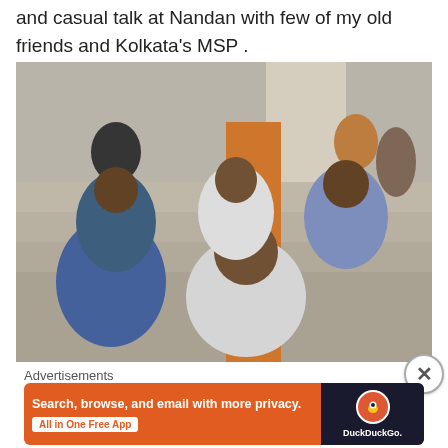and casual talk at Nandan with few of my old friends and Kolkata's MSP .
[Figure (photo): Group photo of several men sitting on steps, likely at Nandan cultural center in Kolkata. Five to six men visible, some wearing checked shirts and formal shirts.]
Advertisements
[Figure (photo): DuckDuckGo advertisement banner with orange background reading 'Search, browse, and email with more privacy. All in One Free App' with DuckDuckGo logo on dark phone mockup.]